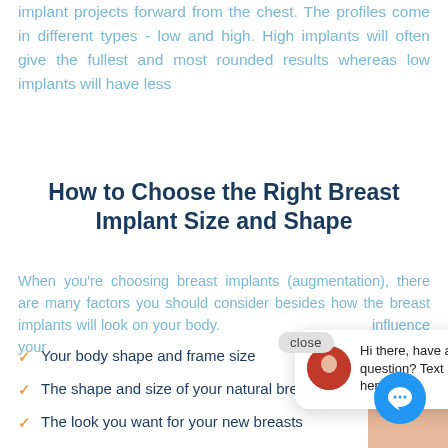implant projects forward from the chest. The profiles come in different types - low and high. High implants will often give the fullest and most rounded results whereas low implants will have less
How to Choose the Right Breast Implant Size and Shape
When you're choosing breast implants (augmentation), there are many factors you should consider besides how the breast implants will look on your body. ... influence your...
Your body shape and frame size
The shape and size of your natural breasts
The look you want for your new breasts